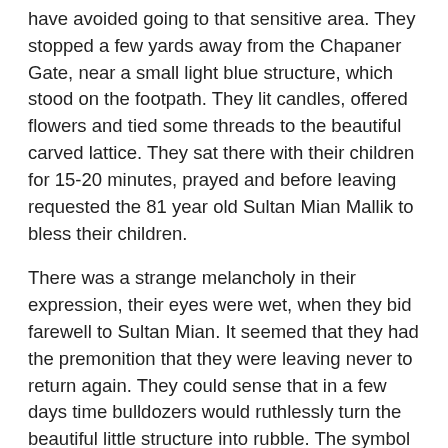have avoided going to that sensitive area. They stopped a few yards away from the Chapaner Gate, near a small light blue structure, which stood on the footpath. They lit candles, offered flowers and tied some threads to the beautiful carved lattice. They sat there with their children for 15-20 minutes, prayed and before leaving requested the 81 year old Sultan Mian Mallik to bless their children.
There was a strange melancholy in their expression, their eyes were wet, when they bid farewell to Sultan Mian. It seemed that they had the premonition that they were leaving never to return again. They could sense that in a few days time bulldozers would ruthlessly turn the beautiful little structure into rubble. The symbol of love and humanity, which had witnessed the city grow, which knew more history than the inhabitants of the area themselves.
The notice to demolish the centuries old Hazrat Rashiduddin Chishti's dargah was left on the mazar about a month ago. Baroda's Mayor Sunil Solanki had declared that if he does not get enough forces, he would demolish the dargah with the help of the bhajpa karyakartas (BJP supporters).